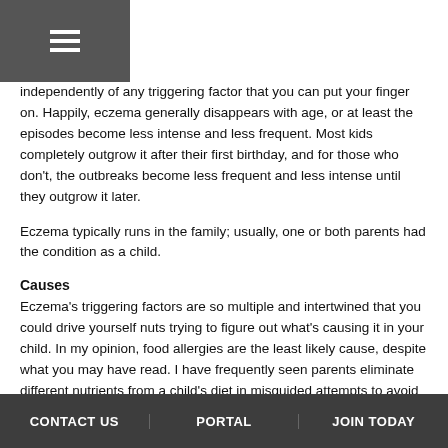≡
independently of any triggering factor that you can put your finger on. Happily, eczema generally disappears with age, or at least the episodes become less intense and less frequent. Most kids completely outgrow it after their first birthday, and for those who don't, the outbreaks become less frequent and less intense until they outgrow it later.
Eczema typically runs in the family; usually, one or both parents had the condition as a child.
Causes
Eczema's triggering factors are so multiple and intertwined that you could drive yourself nuts trying to figure out what's causing it in your child. In my opinion, food allergies are the least likely cause, despite what you may have read. I have frequently seen parents eliminate different nutrients from a child's diet in misguided attempts to avoid or reduce eczema. These changes might appear effective at first, since the eczema will improve naturally, but it soon reappears as part of its normal cycle, even on the new diet.
Environmental factors are actually more important, especially in older children.
CONTACT US   PORTAL   JOIN TODAY